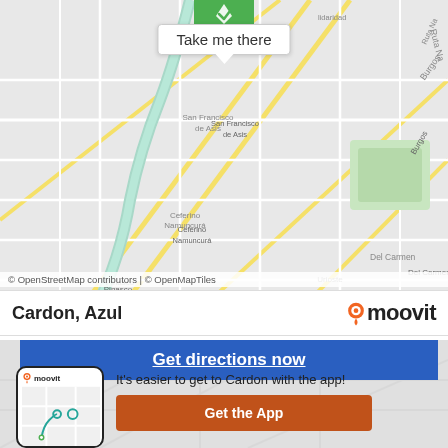[Figure (map): Street map of a neighborhood in Argentina showing streets including Burgos, San Antonio, Azul, Del Carmen, Roca, Urioste, Pinasco, Los Pinos, San Francisco de Asis, Ceferino Namuncura, Villa Piazza Norte, Ruta Na. A green location pin with tooltip 'Take me there' is shown at the top center.]
© OpenStreetMap contributors | © OpenMapTiles
Cardon, Azul
[Figure (logo): Moovit logo with orange pin icon]
Get directions now
[Figure (screenshot): Moovit app phone mockup showing map navigation]
It's easier to get to Cardon with the app!
Get the App